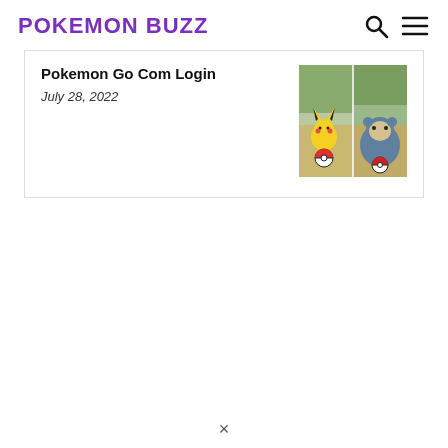POKEMON BUZZ
Pokemon Go Com Login
July 28, 2022
[Figure (photo): Two Pokemon Go AR screenshots side by side — left shows Pikachu in a park with a Pokeball, right shows Snorlax with a Pokeball]
×